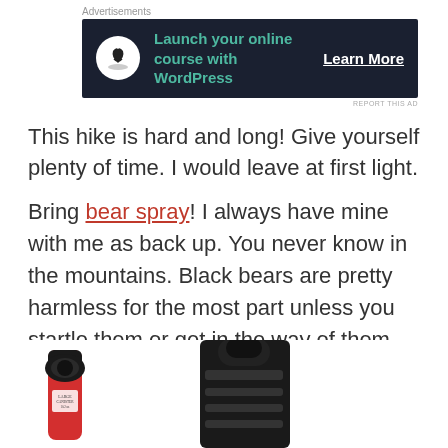[Figure (screenshot): Advertisement banner: dark background with bonsai tree logo, text 'Launch your online course with WordPress', and 'Learn More' call to action button]
This hike is hard and long! Give yourself plenty of time. I would leave at first light.
Bring bear spray! I always have mine with me as back up. You never know in the mountains. Black bears are pretty harmless for the most part unless you startle them or get in the way of them and their babies.  There have been more and more grizzly bear siting's in the Pacific North West, so just be cautious!
[Figure (photo): Photo showing a red bear spray canister and a black holster/case, partially visible at bottom of page]